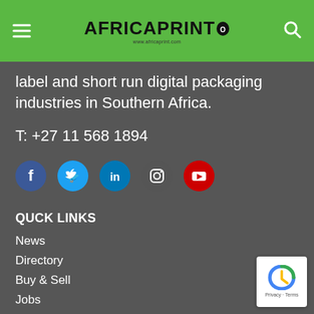AFRICA PRINTO
label and short run digital packaging industries in Southern Africa.
T: +27 11 568 1894
[Figure (infographic): Five social media icons in circles: Facebook (blue), Twitter (blue), LinkedIn (blue), Instagram (dark), YouTube (red)]
QUCK LINKS
News
Directory
Buy & Sell
Jobs